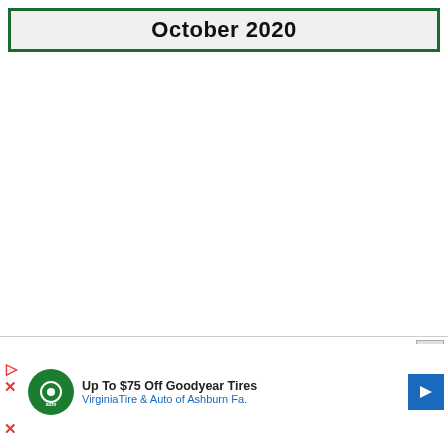October 2020
[Figure (other): Advertisement banner: Up To $75 Off Goodyear Tires - VirginiaTire & Auto of Ashburn Fa.]